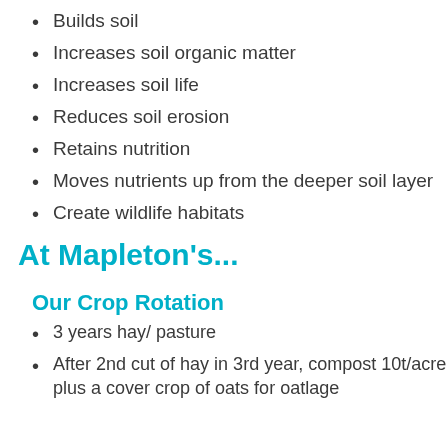Builds soil
Increases soil organic matter
Increases soil life
Reduces soil erosion
Retains nutrition
Moves nutrients up from the deeper soil layer
Create wildlife habitats
At Mapleton's...
Our Crop Rotation
3 years hay/ pasture
After 2nd cut of hay in 3rd year, compost 10t/acre plus a cover crop of oats for oatlage